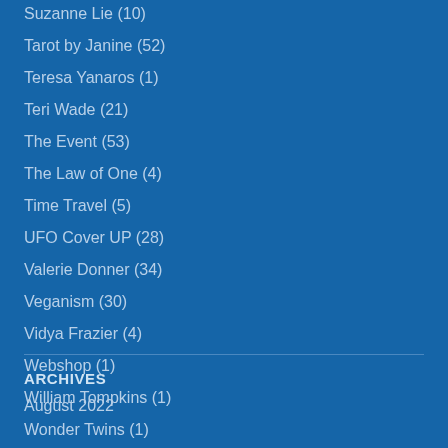Suzanne Lie (10)
Tarot by Janine (52)
Teresa Yanaros (1)
Teri Wade (21)
The Event (53)
The Law of One (4)
Time Travel (5)
UFO Cover UP (28)
Valerie Donner (34)
Veganism (30)
Vidya Frazier (4)
Webshop (1)
William Tompkins (1)
Wonder Twins (1)
ARCHIVES
August 2022